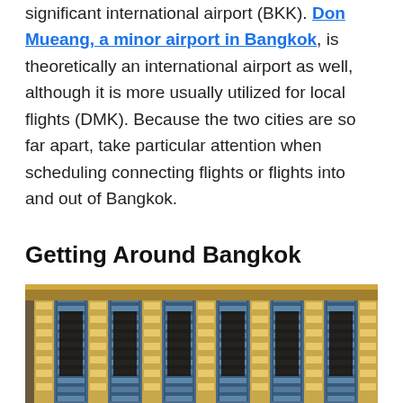significant international airport (BKK). Don Mueang, a minor airport in Bangkok, is theoretically an international airport as well, although it is more usually utilized for local flights (DMK). Because the two cities are so far apart, take particular attention when scheduling connecting flights or flights into and out of Bangkok.
Getting Around Bangkok
[Figure (photo): Ornate Thai temple facade with gilded columns, decorative tiles, and intricate architectural details]